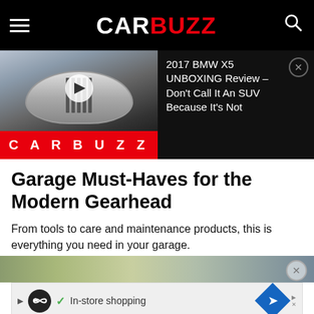CARBUZZ
[Figure (screenshot): CarBuzz video thumbnail showing a silver BMW X5 front view with play button overlay, and CarBuzz red logo banner below]
2017 BMW X5 UNBOXING Review - Don't Call It An SUV Because It's Not
Garage Must-Haves for the Modern Gearhead
From tools to care and maintenance products, this is everything you need in your garage.
[Figure (screenshot): Partial image strip at bottom of article content area, showing colorful garage/tools image]
[Figure (screenshot): Advertisement banner with infinity loop icon, checkmark, In-store shopping text, and blue navigation diamond icon]
Social sharing bar with Facebook, Twitter, Pinterest, WhatsApp, and Email buttons